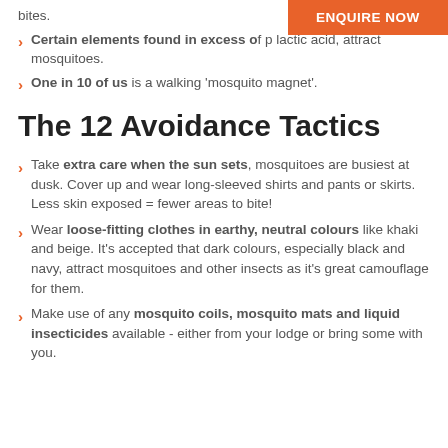bites.
[Figure (other): Orange button with white text: ENQUIRE NOW]
Certain elements found in excess of…p lactic acid, attract mosquitoes.
One in 10 of us is a walking 'mosquito magnet'.
The 12 Avoidance Tactics
Take extra care when the sun sets, mosquitoes are busiest at dusk. Cover up and wear long-sleeved shirts and pants or skirts. Less skin exposed = fewer areas to bite!
Wear loose-fitting clothes in earthy, neutral colours like khaki and beige. It's accepted that dark colours, especially black and navy, attract mosquitoes and other insects as it's great camouflage for them.
Make use of any mosquito coils, mosquito mats and liquid insecticides available - either from your lodge or bring some with you.